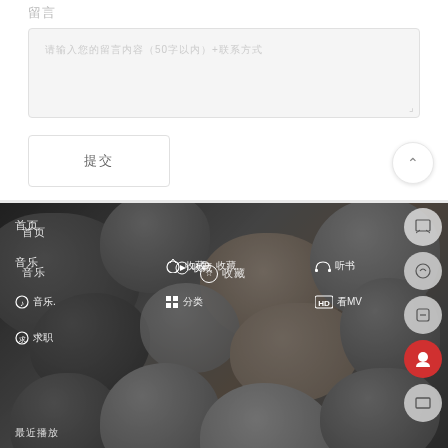留言
请输入您的留言内容（50字以内）+联系方式
提交
[Figure (screenshot): Mobile app UI showing a form with text area and submit button on top, and a photo of river stones/pebbles below with a dark overlay showing a menu with icons and Chinese text labels including 首页, 音乐, 收藏, 分类, 求职, 听书, 看MV, and 最近播放. Right side shows floating action buttons.]
首页
音乐
☆ 收藏
🎧 听书
♪ 音乐.
⊞ 分类
HD 看MV
求 求职
最近播放